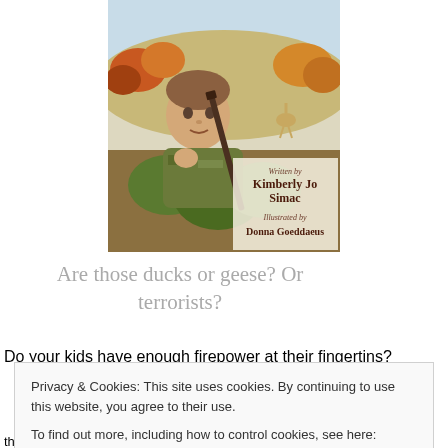[Figure (illustration): Book cover illustration showing a young boy with a rifle/gun over his shoulder, looking up, set against an autumn outdoor landscape with trees, hills, and a deer in the background. Text on cover reads 'Written by Kimberly Jo Simac' and 'Illustrated by Donna Goeddaeus'.]
Are those ducks or geese? Or terrorists?
Do your kids have enough firepower at their fingertins?
Privacy & Cookies: This site uses cookies. By continuing to use this website, you agree to their use.
To find out more, including how to control cookies, see here: Cookie Policy
their sides, there is no adventure they can't meet, no task